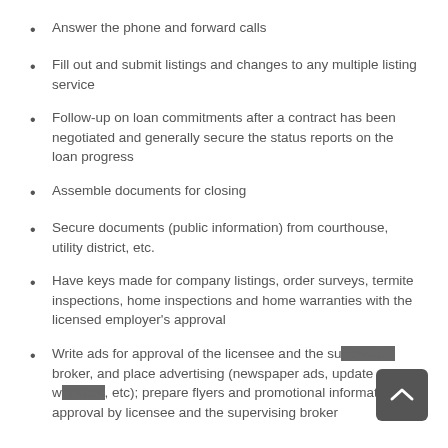Answer the phone and forward calls
Fill out and submit listings and changes to any multiple listing service
Follow-up on loan commitments after a contract has been negotiated and generally secure the status reports on the loan progress
Assemble documents for closing
Secure documents (public information) from courthouse, utility district, etc.
Have keys made for company listings, order surveys, termite inspections, home inspections and home warranties with the licensed employer's approval
Write ads for approval of the licensee and the supervising broker, and place advertising (newspaper ads, update websites, etc); prepare flyers and promotional information for approval by licensee and the supervising broker